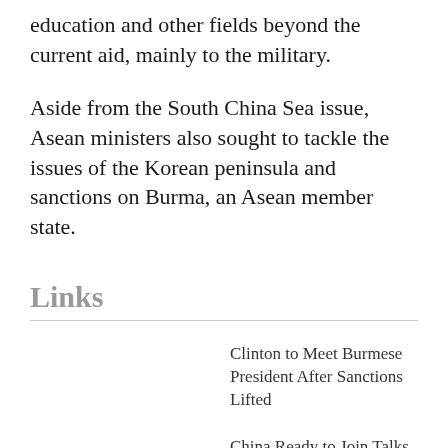education and other fields beyond the current aid, mainly to the military.
Aside from the South China Sea issue, Asean ministers also sought to tackle the issues of the Korean peninsula and sanctions on Burma, an Asean member state.
Links
Clinton to Meet Burmese President After Sanctions Lifted
China Ready to Join Talks on South China Sea
Delays, Disputes Beset ASEAN